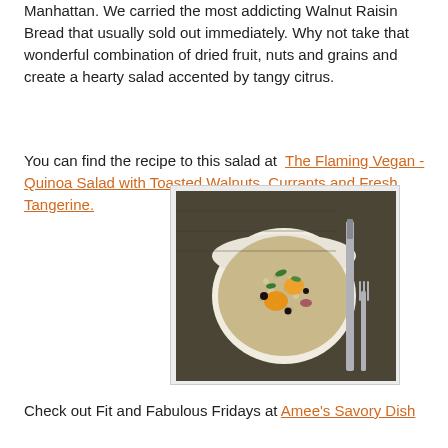Manhattan.  We carried the most addicting Walnut Raisin Bread that usually sold out immediately.  Why not take that wonderful combination of dried fruit, nuts and grains and create a hearty salad accented by tangy citrus.
You can find the recipe to this salad at  The Flaming Vegan - Quinoa Salad with Toasted Walnuts, Currants and Fresh Tangerine.
[Figure (photo): A white bowl filled with quinoa salad containing orange tangerine segments, dark currants, red onion, and fresh herbs, placed on a gray textured cloth next to a knife and fork.]
Check out Fit and Fabulous Fridays at Amee's Savory Dish